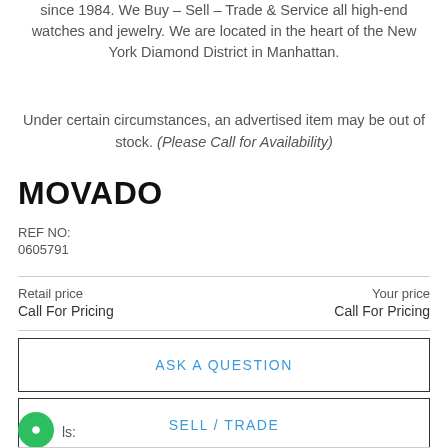since 1984. We Buy – Sell – Trade & Service all high-end watches and jewelry. We are located in the heart of the New York Diamond District in Manhattan.
Under certain circumstances, an advertised item may be out of stock. (Please Call for Availability)
MOVADO
REF NO:
0605791
Retail price
Call For Pricing
Your price
Call For Pricing
ASK A QUESTION
SELL / TRADE
ls: